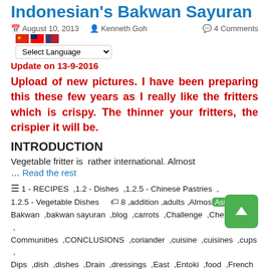Indonesian's Bakwan Sayuran
August 10, 2013  Kenneth Goh  4 Comments
[Figure (illustration): Flag icons: China, Taiwan, USA]
Select Language (dropdown)
Update on 13-9-2016
Upload of new pictures. I have been preparing this these few years as I really like the fritters which is crispy. The thinner your fritters, the crispier it will be.
INTRODUCTION
Vegetable fritter is  rather international. Almost
… Read the rest
1 - RECIPES ,1.2 - Dishes ,1.2.5 - Chinese Pastries , 1.2.5 - Vegetable Dishes  8 ,addition ,adults ,Almost ,Asian , Bakwan ,bakwan sayuran ,blog ,carrots ,Challenge ,Cheers ,chilli , Communities ,CONCLUSIONS ,coriander ,cuisine ,cuisines ,cups , Dips ,dish ,dishes ,Drain ,dressings ,East ,Entoki ,food ,French , Fritters ,Google ,GUAI SHU SHU ,Guaishushu ,Hope ,India ,